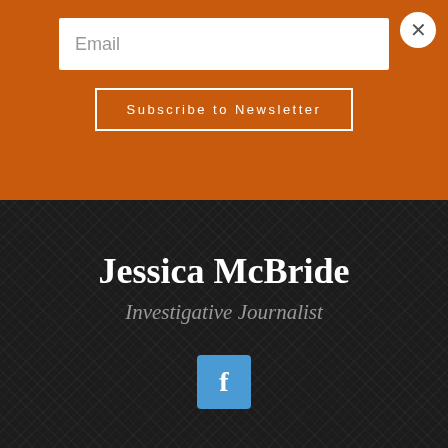Email
Subscribe to Newsletter
Jessica McBride
Investigative Journalist
[Figure (logo): Facebook icon — blue square with white letter f]
Wisconsin Right Now is a Wisconsin-focused
[Figure (logo): Virginia Tire and Auto circular logo]
Ashburn   OPEN | 7:30AM–6PM
43781 Parkhurst Plaza, Ashburn
[Figure (infographic): Blue diamond-shaped navigation/directions arrow icon]